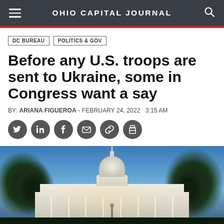OHIO CAPITAL JOURNAL
DC BUREAU   POLITICS & GOV
Before any U.S. troops are sent to Ukraine, some in Congress want a say
BY: ARIANA FIGUEROA - FEBRUARY 24, 2022  3:15 AM
[Figure (photo): Photograph of the U.S. Capitol building at dusk/night with illuminated dome, trees on either side, and a blue sky background]